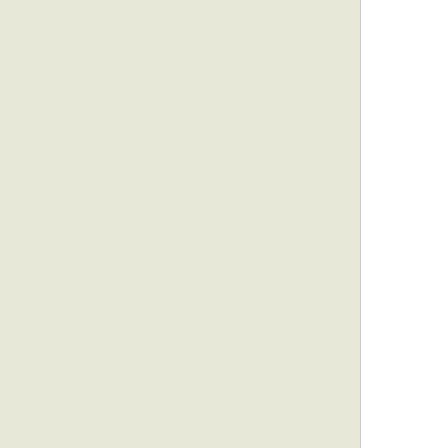http://www.naturalnews.com/... z2uLXUKCIc
https://www.facebook.com/photo.php?fbid ... =3&theater
WHOLE COUNTRY BANNS COCA-COLA OUT OF HEALTHY REASON
Board link: Topic
BLOCKING OF THE PINAL PINAL GLAND (Open all links)
Board link: Topic
https://www.facebook.com/groups/20922…
http://pinalglandresearch.blogspot.de/
https://www.facebook.com/photo.php?fbid … =3&theater
SOCIAL POISONING WITH DENTAL IMPACT ON THE ROOT CANAL AND THE DEFECTS (Open all links)
Board link: Topic
https://www.facebook.com/groups/20922…
SOCIAL POISONING WITH DENTAL IMPACT ON FILLINGS WITH MERCURY
Board link: Topic
SOCIAL POISONING WITH ELECTRIC